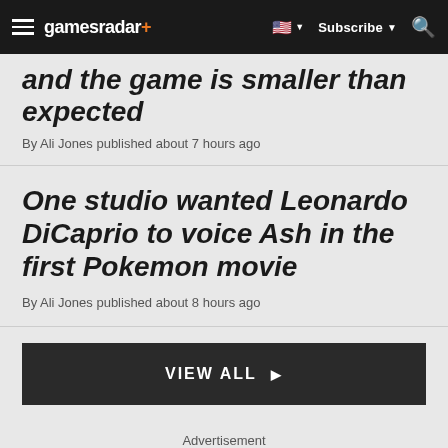gamesradar+ | Subscribe | Search
and the game is smaller than expected
By Ali Jones published about 7 hours ago
One studio wanted Leonardo DiCaprio to voice Ash in the first Pokemon movie
By Ali Jones published about 8 hours ago
VIEW ALL ▶
Advertisement